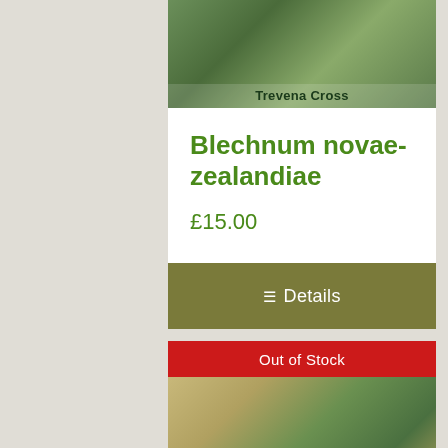[Figure (photo): Photo of a plant with fern-like leaves on a wooden shelf, with 'Trevena Cross' watermark at the bottom]
Blechnum novae-zealandiae
£15.00
☰ Details
Out of Stock
[Figure (photo): Photo of a fern plant in a black pot on a wooden stand, with 'Trevena Cross' watermark at the bottom]
Blechnum volcano